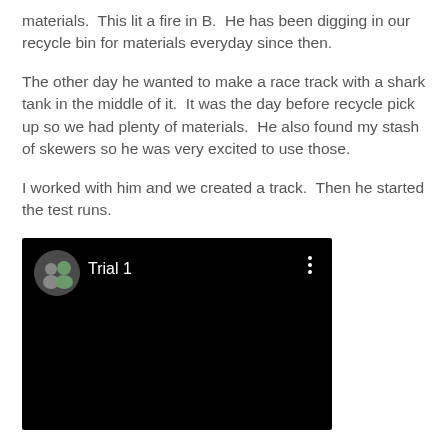materials.  This lit a fire in B.  He has been digging in our recycle bin for materials everyday since then.
The other day he wanted to make a race track with a shark tank in the middle of it.  It was the day before recycle pick up so we had plenty of materials.  He also found my stash of skewers so he was very excited to use those.
I worked with him and we created a track.  Then he started the test runs.
[Figure (screenshot): A dark/black video thumbnail showing a circular avatar photo of two people on the left, the text 'Trial 1' in white next to the avatar, and three vertical dots (more options menu) on the right side.]